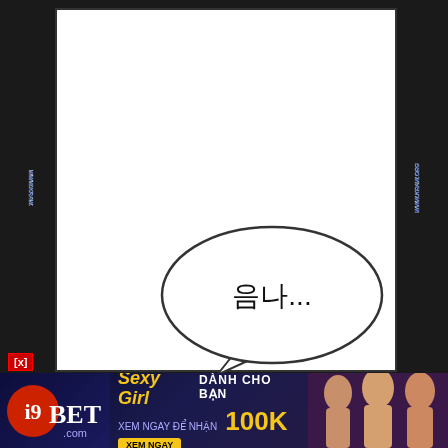[Figure (illustration): Manga/webtoon comic panel page with white background. Left and right black margins contain diagonal watermark text 'WWW.KRAW.ORG'. The main white panel area contains a speech bubble with Korean text '음나...' (meaning 'Umna...') near the bottom center of the panel.]
음나...
[Figure (other): Advertisement banner for i9BET.com showing 'Sexy Girl DANH CHO BAN XEM NGAY DE NHAN 100K XEM NGAY' with images of women on the right side and the i9BET logo on the left.]
[x]